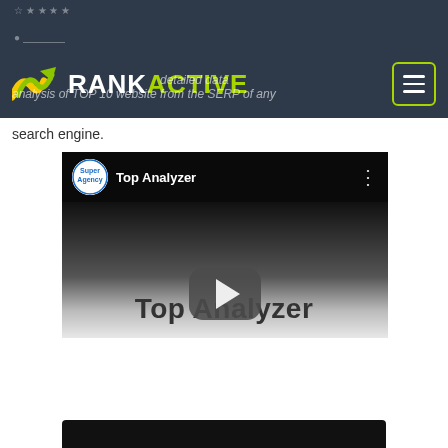[Figure (logo): RankActive logo with green arrow icon, white RANK and green ACTIVE text, and hamburger menu button on dark navy header]
detailed data analysis of TOP 10 website from the SERP of any search engine.
[Figure (screenshot): YouTube video embed showing 'Top Analyzer' video by Super Agency channel, with dark thumbnail and large play button overlay]
Top Analyzer